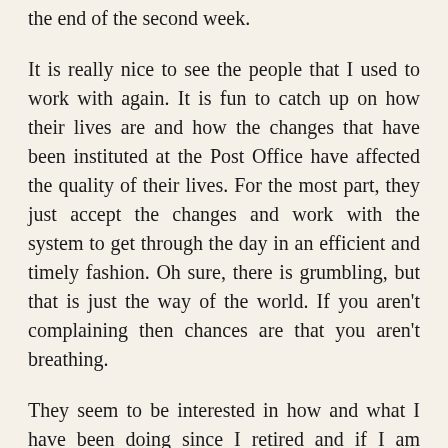the end of the second week.
It is really nice to see the people that I used to work with again. It is fun to catch up on how their lives are and how the changes that have been instituted at the Post Office have affected the quality of their lives. For the most part, they just accept the changes and work with the system to get through the day in an efficient and timely fashion. Oh sure, there is grumbling, but that is just the way of the world. If you aren't complaining then chances are that you aren't breathing.
They seem to be interested in how and what I have been doing since I retired and if I am indeed enjoying myself. Some of my friends that are approaching retirement have questions about what I do to fill the days and if I am happy. I think what they are most concerned with is if the pension is enough to live on. They seem relieved when I tell them that yes, they will be quite comfortable. I tell them that